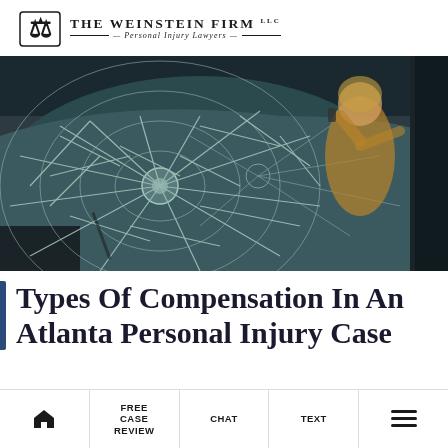The Weinstein Firm LLC — Personal Injury Lawyers
[Figure (photo): Close-up of a severely shattered car windshield with a woman in a tan jacket standing in the background on the phone, appearing distressed after an accident.]
Types Of Compensation In An Atlanta Personal Injury Case
Home | Free Case Review | Chat | Text | Menu